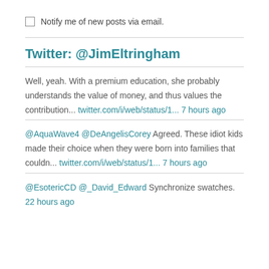Notify me of new posts via email.
Twitter: @JimEltringham
Well, yeah. With a premium education, she probably understands the value of money, and thus values the contribution... twitter.com/i/web/status/1... 7 hours ago
@AquaWave4 @DeAngelisCorey Agreed. These idiot kids made their choice when they were born into families that couldn... twitter.com/i/web/status/1... 7 hours ago
@EsotericCD @_David_Edward Synchronize swatches. 22 hours ago